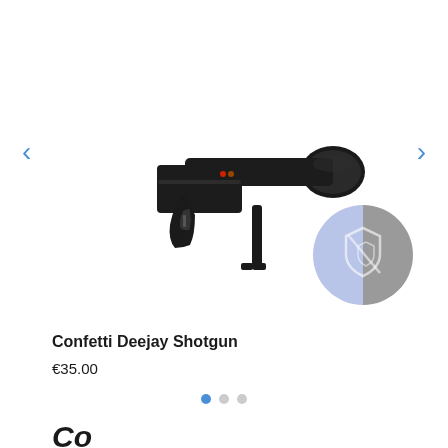[Figure (photo): Product image of a Confetti Deejay Shotgun - a black handheld confetti cannon with a large barrel and pistol grip, shown on white background. A circular badge/logo overlay appears in the lower right of the image.]
Confetti Deejay Shotgun
€35.00